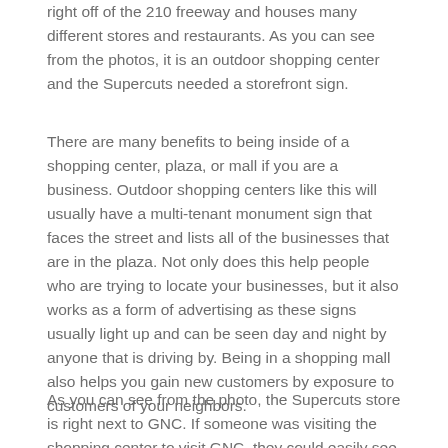right off of the 210 freeway and houses many different stores and restaurants. As you can see from the photos, it is an outdoor shopping center and the Supercuts needed a storefront sign.
There are many benefits to being inside of a shopping center, plaza, or mall if you are a business. Outdoor shopping centers like this will usually have a multi-tenant monument sign that faces the street and lists all of the businesses that are in the plaza. Not only does this help people who are trying to locate your businesses, but it also works as a form of advertising as these signs usually light up and can be seen day and night by anyone that is driving by. Being in a shopping mall also helps you gain new customers by exposure to customers of your neighbors.
As you can see from the photo, the Supercuts store is right next to GNC. If someone was visiting the shopping center to visit GNC, they could easily see that there is a